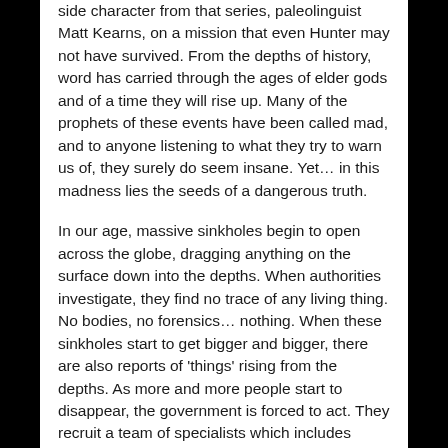side character from that series, paleolinguist Matt Kearns, on a mission that even Hunter may not have survived. From the depths of history, word has carried through the ages of elder gods and of a time they will rise up. Many of the prophets of these events have been called mad, and to anyone listening to what they try to warn us of, they surely do seem insane. Yet… in this madness lies the seeds of a dangerous truth.
In our age, massive sinkholes begin to open across the globe, dragging anything on the surface down into the depths. When authorities investigate, they find no trace of any living thing. No bodies, no forensics… nothing. When these sinkholes start to get bigger and bigger, there are also reports of 'things' rising from the depths. As more and more people start to disappear, the government is forced to act. They recruit a team of specialists which includes Professor Kearns. The team explores one of the sinkholes, and find evidence to show that the ancient, elder gods are once again ready to rise from their ancient slumber. Their aim? Another catastrophic extinction event, just like the last few times they have risen. Life on Earth